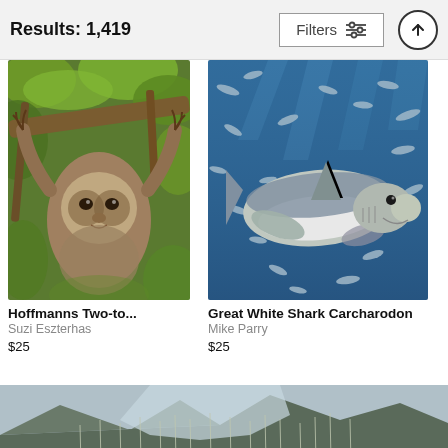Results: 1,419
[Figure (screenshot): Filters button with sliders icon]
[Figure (photo): A sloth hanging from a tree branch with green leaves]
Hoffmanns Two-to...
Suzi Eszterhas
$25
[Figure (photo): Great white shark underwater surrounded by small fish]
Great White Shark Carcharodon
Mike Parry
$25
[Figure (photo): Mountain valley landscape with trees and rain or sparse trunks in foreground]